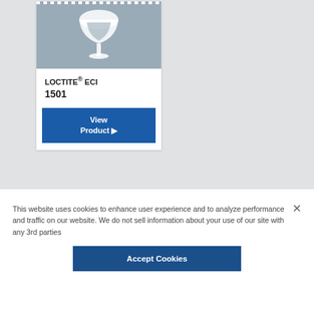[Figure (illustration): Product card with wine glass / funnel icon on blue-gray background. Dotted white border on top edge.]
LOCTITE® ECI 1501
View Product ▶
This website uses cookies to enhance user experience and to analyze performance and traffic on our website. We do not sell information about your use of our site with any 3rd parties
Accept Cookies